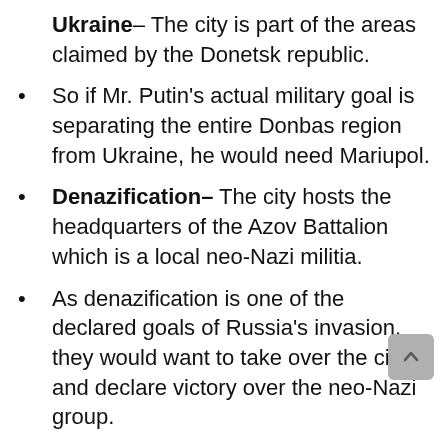Ukraine- The city is part of the areas claimed by the Donetsk republic.
So if Mr. Putin's actual military goal is separating the entire Donbas region from Ukraine, he would need Mariupol.
Denazification- The city hosts the headquarters of the Azov Battalion which is a local neo-Nazi militia.
As denazification is one of the declared goals of Russia's invasion, they would want to take over the city and declare victory over the neo-Nazi group.
Establishing land bridge- The